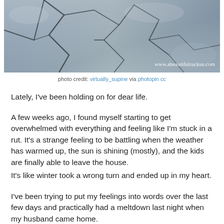[Figure (photo): Cracked dry earth/rock texture photo with watermark 'www.abeautifulruckus.com' in bottom right corner]
photo credit: virtually_supine via photopin cc
Lately, I've been holding on for dear life.
A few weeks ago, I found myself starting to get overwhelmed with everything and feeling like I'm stuck in a rut. It's a strange feeling to be battling when the weather has warmed up, the sun is shining (mostly), and the kids are finally able to leave the house.
It's like winter took a wrong turn and ended up in my heart.
I've been trying to put my feelings into words over the last few days and practically had a meltdown last night when my husband came home.
The laundry never ends.
My quadruplets are more opinionated than ever.